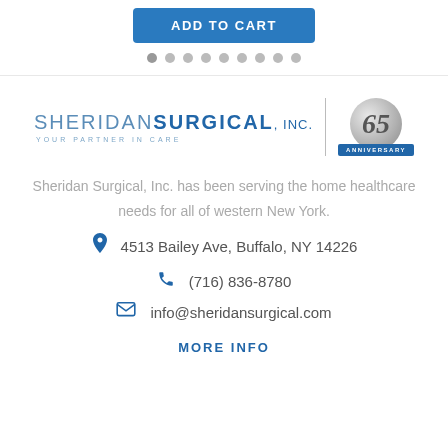[Figure (other): Blue 'ADD TO CART' button and pagination dots below it]
[Figure (logo): Sheridan Surgical, Inc. logo with 65th Anniversary badge]
Sheridan Surgical, Inc. has been serving the home healthcare needs for all of western New York.
4513 Bailey Ave, Buffalo, NY 14226
(716) 836-8780
info@sheridansurgical.com
MORE INFO